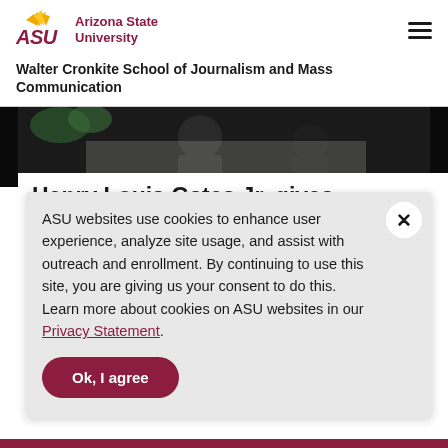[Figure (logo): Arizona State University logo with pitchfork icon and ASU text in maroon]
Walter Cronkite School of Journalism and Mass Communication
[Figure (photo): Photo of people at an event, partially visible at top of page]
Henry Louis Gates Jr. gives
ASU websites use cookies to enhance user experience, analyze site usage, and assist with outreach and enrollment. By continuing to use this site, you are giving us your consent to do this. Learn more about cookies on ASU websites in our Privacy Statement.
Ok, I agree